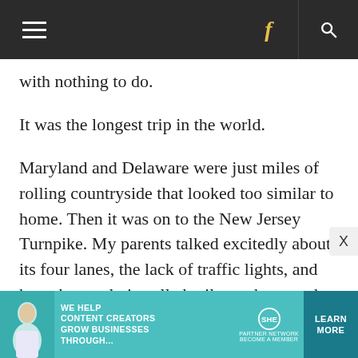≡  f  🔍
with nothing to do.
It was the longest trip in the world.
Maryland and Delaware were just miles of rolling countryside that looked too similar to home. Then it was on to the New Jersey Turnpike. My parents talked excitedly about its four lanes, the lack of traffic lights, and how the newly installed mile markers made it easy to track our progress north. As I halfway listened to their conversation, I realized that one of the reasons for the trip was to see this
[Figure (infographic): Teal advertisement banner: WE HELP CONTENT CREATORS GROW BUSINESSES THROUGH... with SHE Partner Network logo and LEARN MORE button]